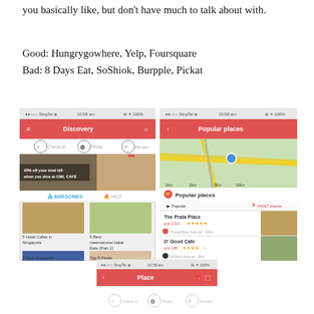you basically like, but don't have much to talk about with.
Good: Hungrygowhere, Yelp, Foursquare
Bad: 8 Days Eat, SoShiok, Burpple, Pickat
[Figure (screenshot): Screenshot of Hungrygowhere app showing Discovery screen with Check-in, Photo, Review tabs, OWL CAFE promotion, AWESOMES and HOT sections with food articles: 5 Halal Cafes in Singapore, 5 Best International Halal Eats (Part 1), 5 Most Romantic, Top 5 Pasta]
[Figure (screenshot): Screenshot of Hungrygowhere app showing Popular places screen with a map and list of places: The Prata Place (pck 1013, 5 stars, Thong Boon Avenue, 10km), D' Good Cafe (pck 188, 4 stars, Holland Avenue, 3km), Woobbee (pck 93, 4 stars, Tanjong Pagar Plaza, 3km)]
[Figure (screenshot): Screenshot of Hungrygowhere app showing Place screen with Check-in, Photo, Review tabs at bottom]